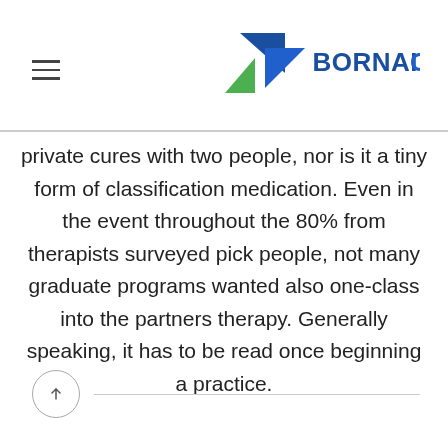BORNAITCO — خدمات میانی بر وب برنا آی تی
private cures with two people, nor is it a tiny form of classification medication. Even in the event throughout the 80% from therapists surveyed pick people, not many graduate programs wanted also one-class into the partners therapy. Generally speaking, it has to be read once beginning a practice.